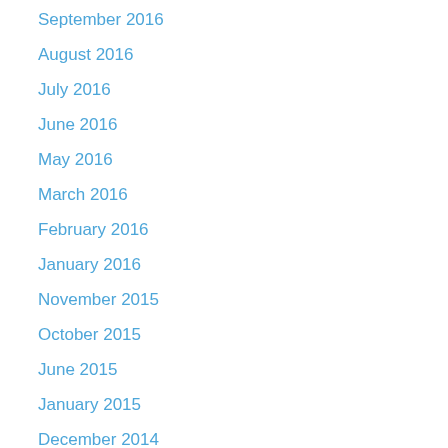September 2016
August 2016
July 2016
June 2016
May 2016
March 2016
February 2016
January 2016
November 2015
October 2015
June 2015
January 2015
December 2014
October 2014
September 2014
July 2014
June 2014
May 2014
April 2014
March 2014